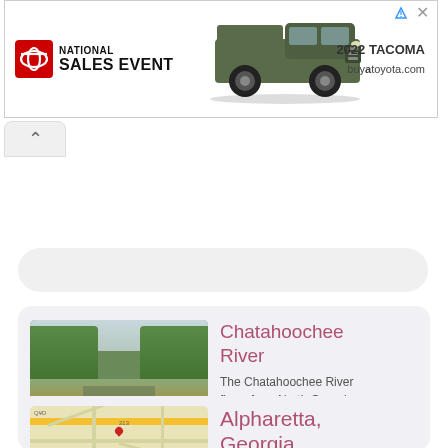[Figure (photo): Toyota National Sales Event advertisement banner featuring a dark green 2022 Tacoma pickup truck. Logo shows red Toyota emblem on left with bold text 'NATIONAL SALES EVENT'. Right side shows '2022 TACOMA' and 'buyatoyota.com'.]
[Figure (photo): Chatahoochee River photograph showing a river lined with dense green trees on both sides, calm brown water reflecting the trees, overcast sky.]
Chatahoochee River
The Chatahoochee River flows from North Georgia to Florida and forms much of ...
[Figure (map): Map thumbnail showing Alpharetta, Georgia area with road network, yellow highway, and location markers.]
Alpharetta, Georgia